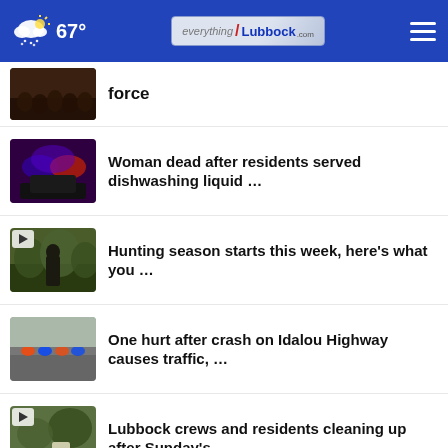67° everything/Lubbock.com
force
Woman dead after residents served dishwashing liquid …
Hunting season starts this week, here's what you …
One hurt after crash on Idalou Highway causes traffic, …
Lubbock crews and residents cleaning up after Sunday's …
More scattered thunderstorms expected Monday PM across …
Teen loses arm in Queens subway